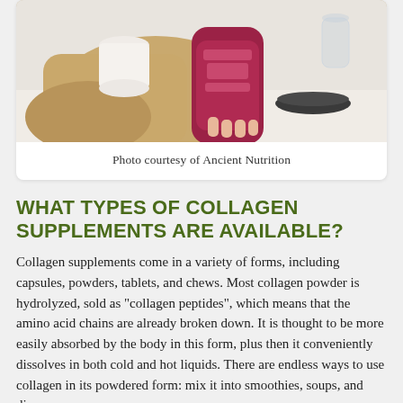[Figure (photo): A person holding a red/magenta container of Multi Collagen Protein supplement, with a white cup and dark bowl in the background, warm beige/tan clothing visible.]
Photo courtesy of Ancient Nutrition
WHAT TYPES OF COLLAGEN SUPPLEMENTS ARE AVAILABLE?
Collagen supplements come in a variety of forms, including capsules, powders, tablets, and chews. Most collagen powder is hydrolyzed, sold as “collagen peptides”, which means that the amino acid chains are already broken down. It is thought to be more easily absorbed by the body in this form, plus then it conveniently dissolves in both cold and hot liquids. There are endless ways to use collagen in its powdered form: mix it into smoothies, soups, and dips, or